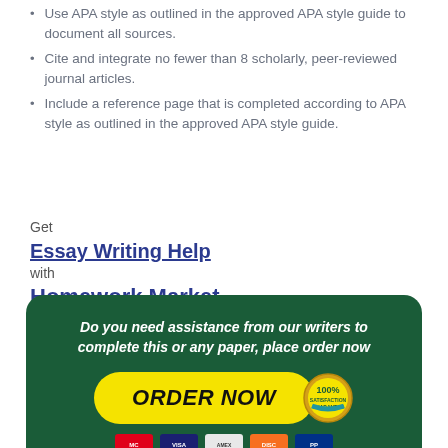Use APA style as outlined in the approved APA style guide to document all sources.
Cite and integrate no fewer than 8 scholarly, peer-reviewed journal articles.
Include a reference page that is completed according to APA style as outlined in the approved APA style guide.
Get
Essay Writing Help
with
Homework Market
[Figure (infographic): Dark green rounded banner with white bold italic text: 'Do you need assistance from our writers to complete this or any paper, place order now', a yellow ORDER NOW button, a 100% Satisfaction Guarantee seal, and payment icons (Mastercard, Visa, Amex, Discover, PayPal).]